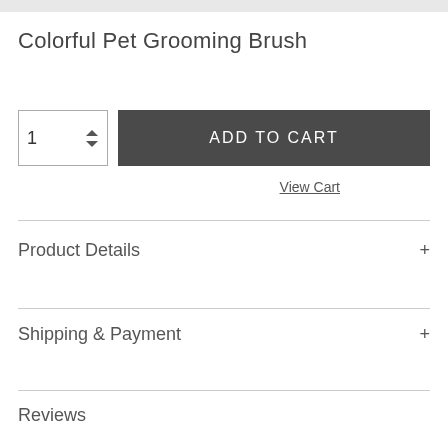Colorful Pet Grooming Brush
[Figure (screenshot): Add to cart UI with quantity selector showing '1' and a dark gray 'ADD TO CART' button]
View Cart
Product Details +
Shipping & Payment +
Reviews